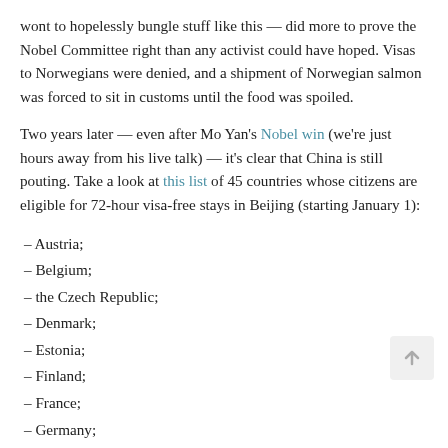wont to hopelessly bungle stuff like this — did more to prove the Nobel Committee right than any activist could have hoped. Visas to Norwegians were denied, and a shipment of Norwegian salmon was forced to sit in customs until the food was spoiled.
Two years later — even after Mo Yan's Nobel win (we're just hours away from his live talk) — it's clear that China is still pouting. Take a look at this list of 45 countries whose citizens are eligible for 72-hour visa-free stays in Beijing (starting January 1):
– Austria;
– Belgium;
– the Czech Republic;
– Denmark;
– Estonia;
– Finland;
– France;
– Germany;
– Greece;
– Hungary;
– Iceland;
– Italy;